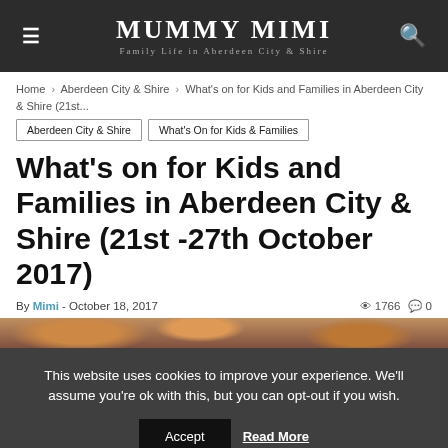MUMMY MIMI — Family Life in Aberdeen City & Shire
Home › Aberdeen City & Shire › What's on for Kids and Families in Aberdeen City & Shire (21st...
Aberdeen City & Shire
What's On for Kids & Families
What's on for Kids and Families in Aberdeen City & Shire (21st -27th October 2017)
By Mimi - October 18, 2017   1766   0
[Figure (photo): Partial view of an outdoor autumn scene, blurred/cropped image strip]
This website uses cookies to improve your experience. We'll assume you're ok with this, but you can opt-out if you wish. Accept Read More